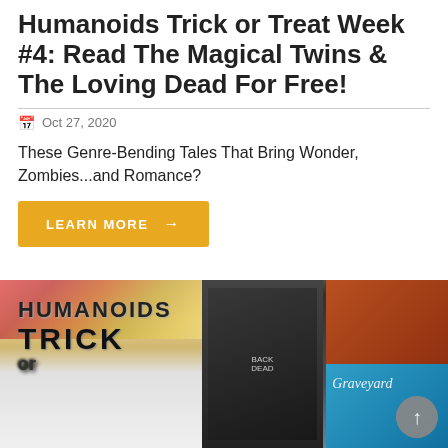Humanoids Trick or Treat Week #4: Read The Magical Twins & The Loving Dead For Free!
Oct 27, 2020
These Genre-Bending Tales That Bring Wonder, Zombies...and Romance?
LEARN MORE →
[Figure (photo): Promotional banner for Humanoids Trick or Treat Week showing comic book covers with the text HUMANOIDS TRICK on the left side and book cover images on the right against a floral background]